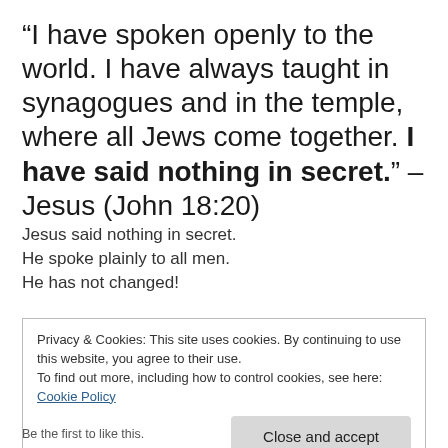“I have spoken openly to the world. I have always taught in synagogues and in the temple, where all Jews come together. I have said nothing in secret.” – Jesus (John 18:20)
Jesus said nothing in secret.
He spoke plainly to all men.
He has not changed!
Privacy & Cookies: This site uses cookies. By continuing to use this website, you agree to their use.
To find out more, including how to control cookies, see here: Cookie Policy
Close and accept
Be the first to like this.